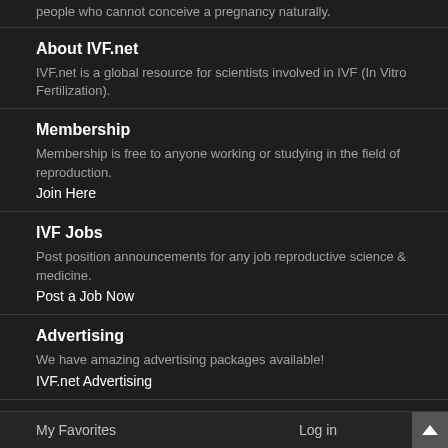people who cannot conceive a pregnancy naturally.
About IVF.net
IVF.net is a global resource for scientists involved in IVF (In Vitro Fertilization).
Membership
Membership is free to anyone working or studying in the field of reproduction.
Join Here
IVF Jobs
Post position announcements for any job reproductive science & medicine.
Post a Job Now
Advertising
We have amazing advertising packages available!
IVF.net Advertising
Navigation
My Favorites	Log in